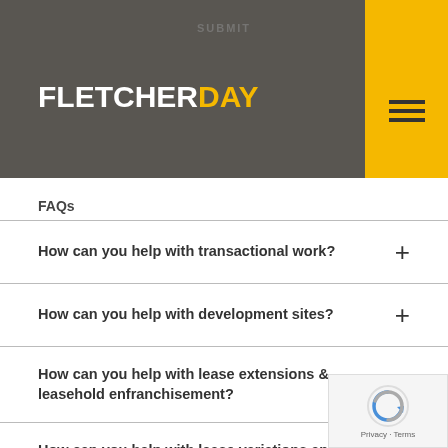SUBMIT
FLETCHERDAY
FAQs
How can you help with transactional work?
How can you help with development sites?
How can you help with lease extensions & leasehold enfranchisement?
How can you help with lease variations and licences?
How can you help with residential property disputes?